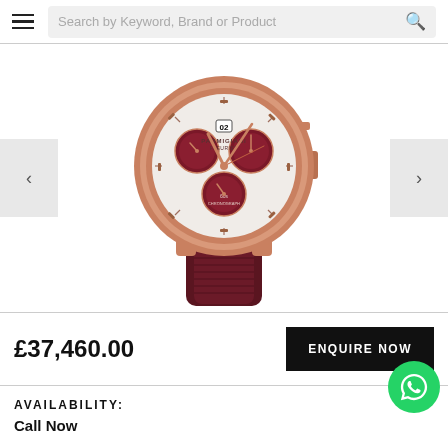Search by Keyword, Brand or Product
[Figure (photo): Parmigiani Fleurier luxury chronograph watch with rose gold case, dark burgundy/maroon sub-dials, white dial face, and dark burgundy rubber strap]
£37,460.00
ENQUIRE NOW
AVAILABILITY:
Call Now
Click here to be notified by email when Parmigiani